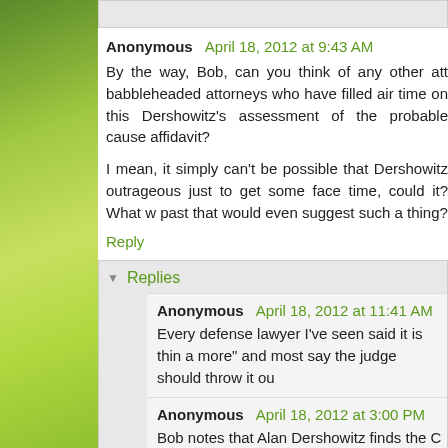Anonymous April 18, 2012 at 9:43 AM
By the way, Bob, can you think of any other att babbleheaded attorneys who have filled air time on this Dershowitz's assessment of the probable cause affidavit?
I mean, it simply can't be possible that Dershowitz outrageous just to get some face time, could it? What w past that would even suggest such a thing?
Reply
Replies
Anonymous April 18, 2012 at 11:41 AM
Every defense lawyer I've seen said it is thin a more" and most say the judge should throw it ou
Anonymous April 18, 2012 at 3:00 PM
Bob notes that Alan Dershowitz finds the C